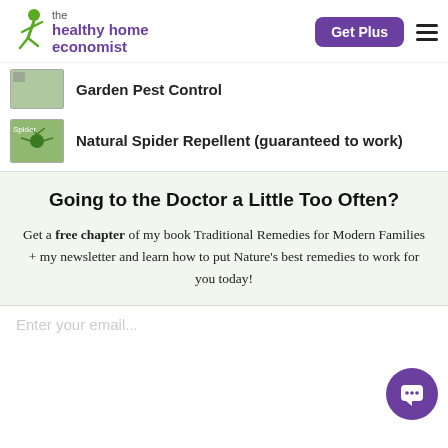the healthy home economist | Get Plus
Garden Pest Control
Natural Spider Repellent (guaranteed to work)
Going to the Doctor a Little Too Often?
Get a free chapter of my book Traditional Remedies for Modern Families + my newsletter and learn how to put Nature's best remedies to work for you today!
Enter your email...